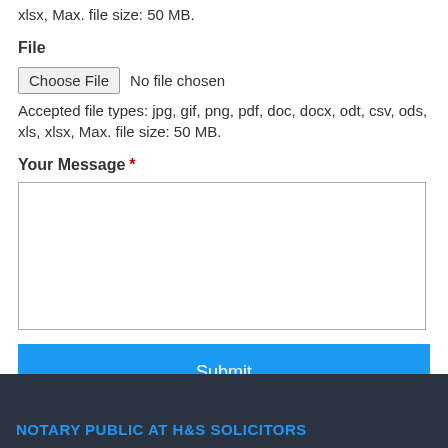xlsx, Max. file size: 50 MB.
File
[Figure (screenshot): File upload input with 'Choose File' button and 'No file chosen' text]
Accepted file types: jpg, gif, png, pdf, doc, docx, odt, csv, ods, xls, xlsx, Max. file size: 50 MB.
Your Message *
(empty message text area)
Submit
NOTARY PUBLIC AT H&S SOLICITORS